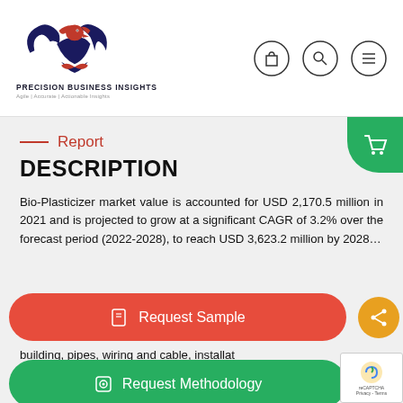[Figure (logo): Precision Business Insights eagle logo with red and dark blue colors, company name and tagline 'Agile | Accurate | Actionable Insights']
Report
DESCRIPTION
Bio-Plasticizer market value is accounted for USD 2,170.5 million in 2021 and is projected to grow at a significant CAGR of 3.2% over the forecast period (2022-2028), to reach USD 3,623.2 million by 2028... building, pipes, wiring and cable, installat... f... o...